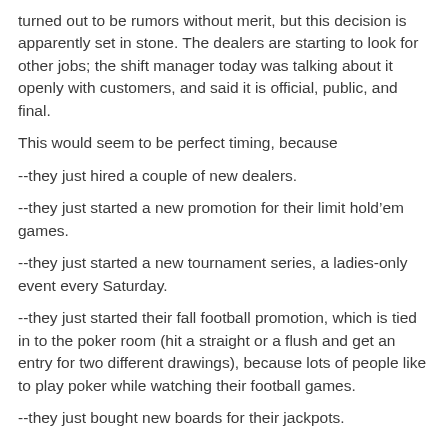turned out to be rumors without merit, but this decision is apparently set in stone. The dealers are starting to look for other jobs; the shift manager today was talking about it openly with customers, and said it is official, public, and final.
This would seem to be perfect timing, because
--they just hired a couple of new dealers.
--they just started a new promotion for their limit hold’em games.
--they just started a new tournament series, a ladies-only event every Saturday.
--they just started their fall football promotion, which is tied in to the poker room (hit a straight or a flush and get an entry for two different drawings), because lots of people like to play poker while watching their football games.
--they just bought new boards for their jackpots.